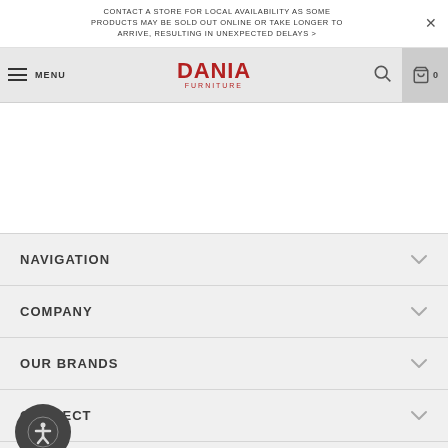CONTACT A STORE FOR LOCAL AVAILABILITY AS SOME PRODUCTS MAY BE SOLD OUT ONLINE OR TAKE LONGER TO ARRIVE, RESULTING IN UNEXPECTED DELAYS >
[Figure (logo): Dania Furniture logo with red text and navigation bar including hamburger menu, MENU text, search icon, and cart icon with 0 count]
NAVIGATION
COMPANY
OUR BRANDS
CONNECT
[Figure (illustration): Social media icons row: Facebook, Pinterest, Instagram, LinkedIn (partially visible)]